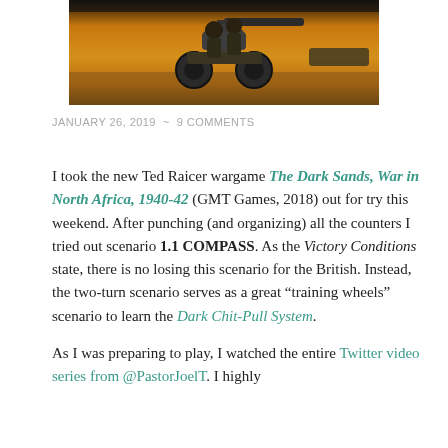[Figure (photo): Photograph of soldiers operating an anti-aircraft or artillery gun on a wheeled carriage, set against a yellow/orange desert background (WWII North Africa scene).]
JANUARY 26, 2019  ~  9 COMMENTS
I took the new Ted Raicer wargame The Dark Sands, War in North Africa, 1940-42 (GMT Games, 2018) out for try this weekend. After punching (and organizing) all the counters I tried out scenario 1.1 COMPASS. As the Victory Conditions state, there is no losing this scenario for the British. Instead, the two-turn scenario serves as a great “training wheels” scenario to learn the Dark Chit-Pull System.
As I was preparing to play, I watched the entire Twitter video series from @PastorJoelT. I highly